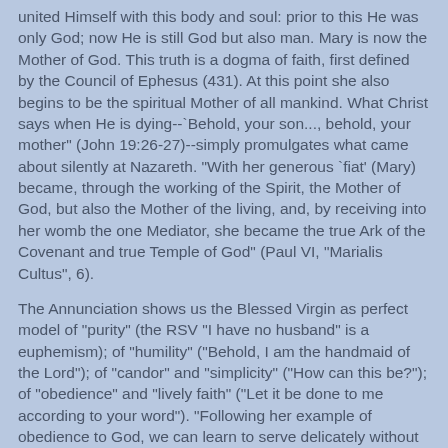united Himself with this body and soul: prior to this He was only God; now He is still God but also man. Mary is now the Mother of God. This truth is a dogma of faith, first defined by the Council of Ephesus (431). At this point she also begins to be the spiritual Mother of all mankind. What Christ says when He is dying--`Behold, your son..., behold, your mother" (John 19:26-27)--simply promulgates what came about silently at Nazareth. "With her generous `fiat' (Mary) became, through the working of the Spirit, the Mother of God, but also the Mother of the living, and, by receiving into her womb the one Mediator, she became the true Ark of the Covenant and true Temple of God" (Paul VI, "Marialis Cultus", 6).
The Annunciation shows us the Blessed Virgin as perfect model of "purity" (the RSV "I have no husband" is a euphemism); of "humility" ("Behold, I am the handmaid of the Lord"); of "candor" and "simplicity" ("How can this be?"); of "obedience" and "lively faith" ("Let it be done to me according to your word"). "Following her example of obedience to God, we can learn to serve delicately without being slavish. In Mary, we don't find the slightest trace of the attitude of the foolish virgins, who obey, but thoughtlessly. Our Lady listens attentively to what God wants, ponders